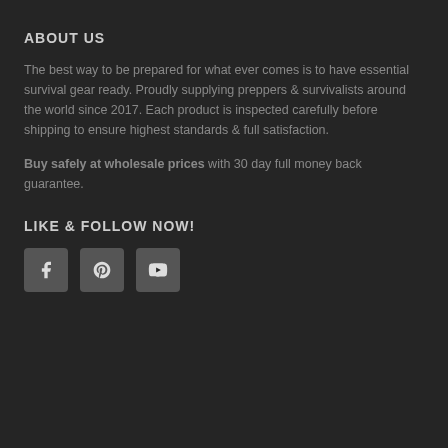ABOUT US
The best way to be prepared for what ever comes is to have essential survival gear ready. Proudly supplying preppers & survivalists around the world since 2017. Each product is inspected carefully before shipping to ensure highest standards & full satisfaction.
Buy safely at wholesale prices with 30 day full money back guarantee.
LIKE & FOLLOW NOW!
[Figure (other): Three social media icon buttons: Facebook, Pinterest, YouTube]